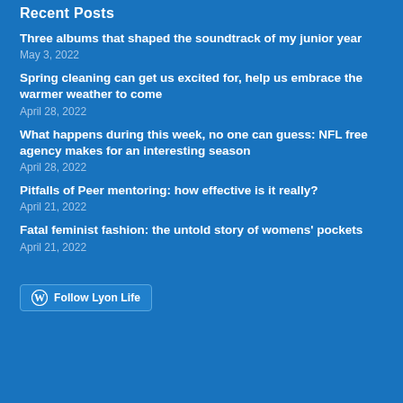Recent Posts
Three albums that shaped the soundtrack of my junior year
May 3, 2022
Spring cleaning can get us excited for, help us embrace the warmer weather to come
April 28, 2022
What happens during this week, no one can guess: NFL free agency makes for an interesting season
April 28, 2022
Pitfalls of Peer mentoring: how effective is it really?
April 21, 2022
Fatal feminist fashion: the untold story of womens' pockets
April 21, 2022
[Figure (logo): WordPress Follow Lyon Life button with WordPress logo icon]